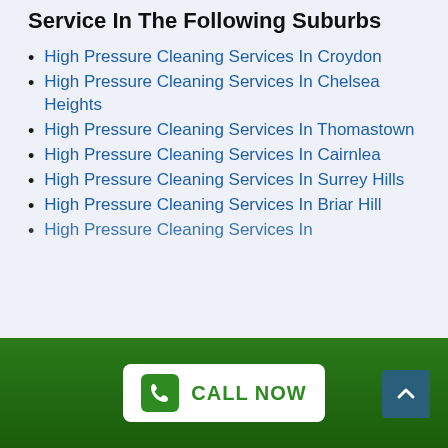Service In The Following Suburbs
High Pressure Cleaning Services In Croydon
High Pressure Cleaning Services In Chelsea Heights
High Pressure Cleaning Services In Thomastown
High Pressure Cleaning Services In Cairnlea
High Pressure Cleaning Services In Surrey Hills
High Pressure Cleaning Services In Briar Hill
High Pressure Cleaning Services In [partially visible]
CALL NOW